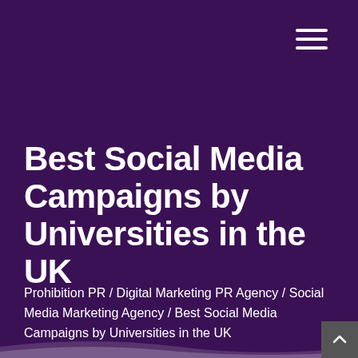[Figure (other): Hamburger menu icon with three horizontal white lines in top-right corner]
Best Social Media Campaigns by Universities in the UK
Prohibition PR / Digital Marketing PR Agency / Social Media Marketing Agency / Best Social Media Campaigns by Universities in the UK